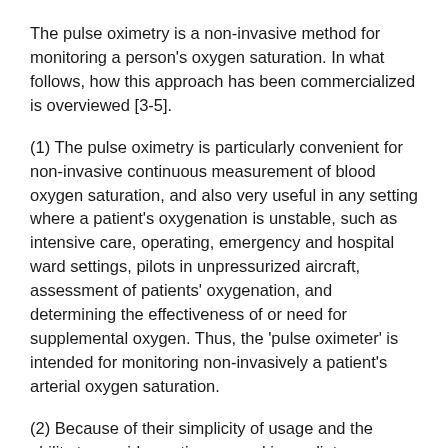The pulse oximetry is a non-invasive method for monitoring a person's oxygen saturation. In what follows, how this approach has been commercialized is overviewed [3-5].
(1) The pulse oximetry is particularly convenient for non-invasive continuous measurement of blood oxygen saturation, and also very useful in any setting where a patient's oxygenation is unstable, such as intensive care, operating, emergency and hospital ward settings, pilots in unpressurized aircraft, assessment of patients' oxygenation, and determining the effectiveness of or need for supplemental oxygen. Thus, the 'pulse oximeter' is intended for monitoring non-invasively a patient's arterial oxygen saturation.
(2) Because of their simplicity of usage and the ability to provide continuous and immediate oxygen saturation values, 'pulse oximeters' are of critical importance in